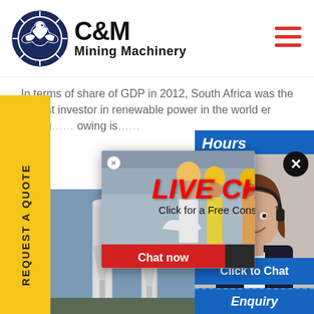[Figure (logo): C&M Mining Machinery logo with circular eagle emblem in navy blue]
In terms of share of GDP in 2012, South Africa was the largest investor in renewable power in the world er Uruguay owing is
[Figure (screenshot): Live Chat popup overlay with workers in hard hats, LIVE CHAT title in red, Chat now and Chat later buttons]
[Figure (photo): Industrial mining equipment / white cyclone separator towers on blue sky background]
[Figure (photo): Female customer service representative with headset, smiling]
REQUEST A QUOTE
Hours
online
Click to Chat
Enquiry